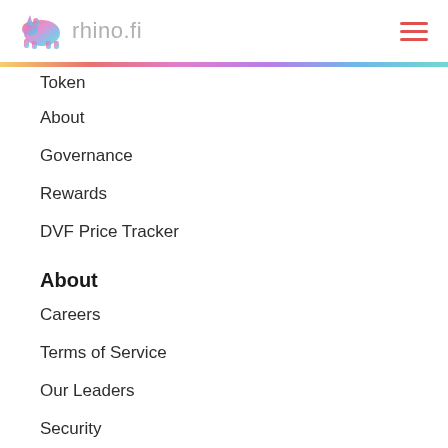rhino.fi
Token
About
Governance
Rewards
DVF Price Tracker
About
Careers
Terms of Service
Our Leaders
Security
Blog
Introducing rhino.fi
Fundraising announcement
This is a Noah's Ark moment for DeFI